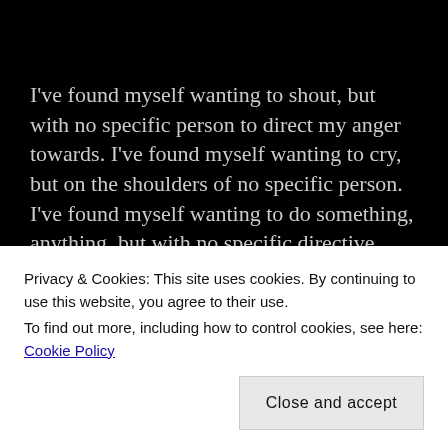I've found myself wanting to shout, but with no specific person to direct my anger towards. I've found myself wanting to cry, but on the shoulders of no specific person. I've found myself wanting to do something, anything, but with no specific directive.
I'm simply lost.
The systemic racism toward the black community is
Privacy & Cookies: This site uses cookies. By continuing to use this website, you agree to their use.
To find out more, including how to control cookies, see here: Cookie Policy
Close and accept
perpetrating death.